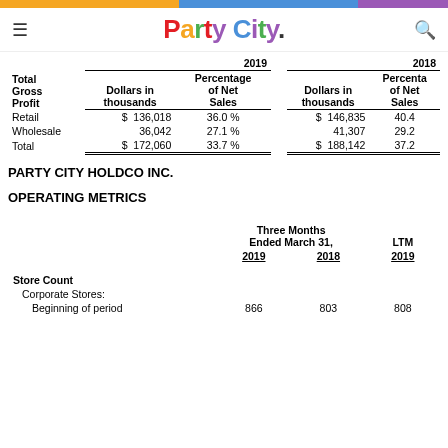Party City
| Total Gross Profit | 2019 Dollars in thousands | 2019 Percentage of Net Sales | 2018 Dollars in thousands | 2018 Percentage of Net Sales |
| --- | --- | --- | --- | --- |
| Retail | $ 136,018 | 36.0 % | $ 146,835 | 40.4 |
| Wholesale | 36,042 | 27.1 % | 41,307 | 29.2 |
| Total | $ 172,060 | 33.7 % | $ 188,142 | 37.2 |
PARTY CITY HOLDCO INC.
OPERATING METRICS
|  | Three Months Ended March 31, 2019 | Three Months Ended March 31, 2018 | LTM 2019 |
| --- | --- | --- | --- |
| Store Count |  |  |  |
| Corporate Stores: |  |  |  |
| Beginning of period | 866 | 803 | 808 |